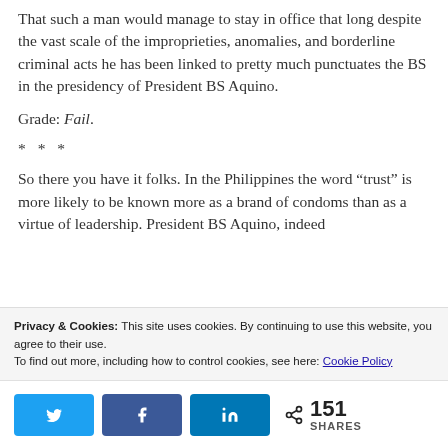That such a man would manage to stay in office that long despite the vast scale of the improprieties, anomalies, and borderline criminal acts he has been linked to pretty much punctuates the BS in the presidency of President BS Aquino.
Grade: Fail.
* * *
So there you have it folks. In the Philippines the word “trust” is more likely to be known more as a brand of condoms than as a virtue of leadership. President BS Aquino, indeed
Privacy & Cookies: This site uses cookies. By continuing to use this website, you agree to their use.
To find out more, including how to control cookies, see here: Cookie Policy
151 SHARES